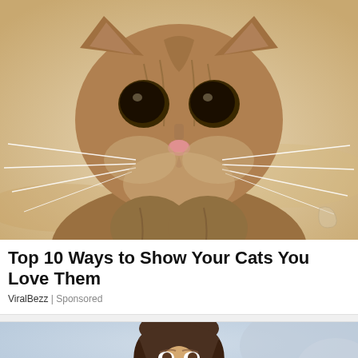[Figure (photo): Close-up photo of a sand cat with large dark eyes, striped tabby markings, long white whiskers, and a pink nose, set against a sandy background]
Top 10 Ways to Show Your Cats You Love Them
ViralBezz | Sponsored
[Figure (photo): Partial photo of a dark-haired man with his mouth slightly open, against a light blue/grey blurred background]